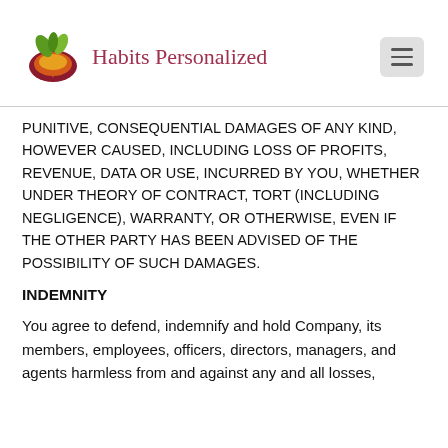[Figure (logo): Habits Personalized logo with colorful leaf/fruit graphic and text]
PUNITIVE, OR CONSEQUENTIAL DAMAGES OF ANY KIND, HOWEVER CAUSED, INCLUDING LOSS OF PROFITS, REVENUE, DATA OR USE, INCURRED BY YOU, WHETHER UNDER THEORY OF CONTRACT, TORT (INCLUDING NEGLIGENCE), WARRANTY, OR OTHERWISE, EVEN IF THE OTHER PARTY HAS BEEN ADVISED OF THE POSSIBILITY OF SUCH DAMAGES.
INDEMNITY
You agree to defend, indemnify and hold Company, its members, employees, officers, directors, managers, and agents harmless from and against any and all losses,